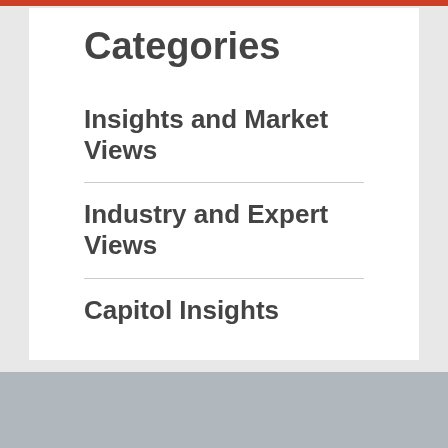Categories
Insights and Market Views
Industry and Expert Views
Capitol Insights